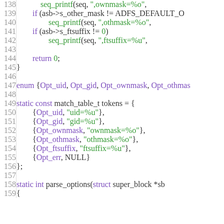[Figure (screenshot): Source code listing in a code editor showing C code lines 138-159, with syntax highlighting. Line numbers in grey on the left, keywords in purple, string literals and function names in green.]